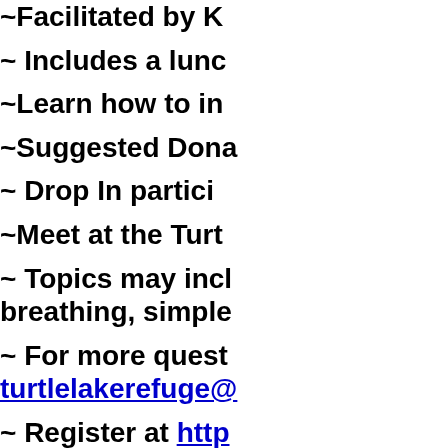~Facilitated by K...
~ Includes a lunc...
~Learn how to in...
~Suggested Dona...
~ Drop In partici...
~Meet at the Turt...
~ Topics may incl... breathing, simple...
~ For more quest... turtlelakerefuge@...
~ Register at http... class-tickets-3637...
Organic La...
Please join us in h...